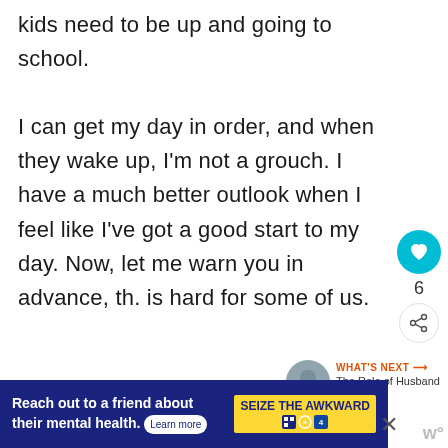kids need to be up and going to school.

I can get my day in order, and when they wake up, I'm not a grouch. I have a much better outlook when I feel like I've got a good start to my day. Now, let me warn you in advance, th. is hard for some of us.
[Figure (infographic): Social sharing sidebar with heart/like button showing count of 6, share icon button, and a 'What's Next' recommendation showing 'The Role of Husband an...' with a thumbnail image]
[Figure (infographic): Advertisement banner: 'Reach out to a friend about their mental health. Learn more' with 'SEIZE THE AWKWARD' badge in yellow on dark blue background, with close button and W logo]